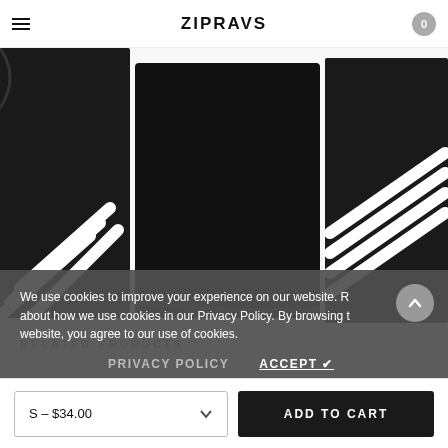ZIPRAVS
[Figure (photo): Black athletic skirt with diagonal white stripes on the sides, shown from three angles: left side panel, front center, and right side panel]
We use cookies to improve your experience on our website. Read about how we use cookies in our Privacy Policy. By browsing this website, you agree to our use of cookies.
RELATED PRODUCTS
PRIVACY POLICY   ACCEPT ✔
S – $34.00
ADD TO CART